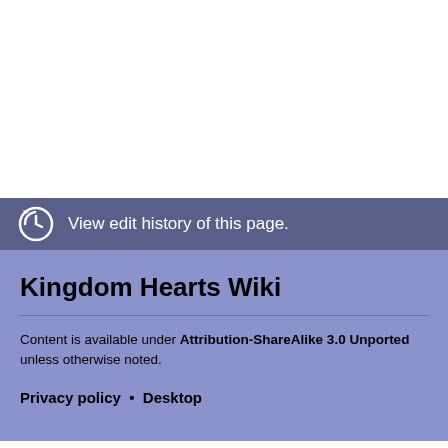View edit history of this page.
Kingdom Hearts Wiki
Content is available under Attribution-ShareAlike 3.0 Unported unless otherwise noted.
Privacy policy • Desktop